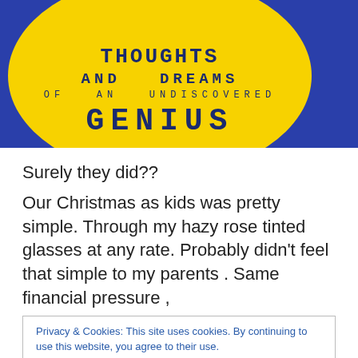[Figure (photo): Book cover photo showing yellow oval on blue background with text: THOUGHTS AND DREAMS OF AN UNDISCOVERED GENIUS]
Surely they did??
Our Christmas as kids was pretty simple. Through my hazy rose tinted glasses at any rate. Probably didn't feel that simple to my parents . Same financial pressure ,
Privacy & Cookies: This site uses cookies. By continuing to use this website, you agree to their use.
To find out more, including how to control cookies, see here: Cookie Policy
Close and accept
We'd watch The Snowman on Christmas Eve , presents